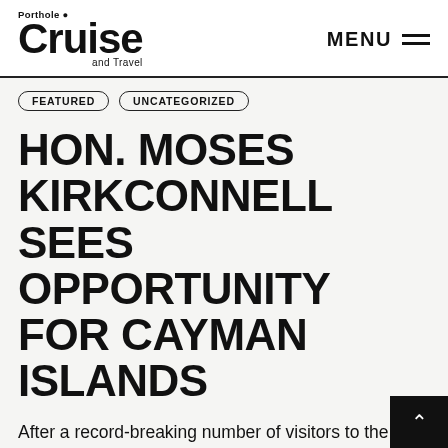Porthole Cruise and Travel — MENU
FEATURED
UNCATEGORIZED
HON. MOSES KIRKCONNELL SEES OPPORTUNITY FOR CAYMAN ISLANDS
After a record-breaking number of visitors to the Cayman Islands in 2019, the islands seemed poised for a bright future. But after the COVID-19 outbreak, those working in cruising and tourism are now looking to adapt to the new normal and take advantage of an opportunity to drive the